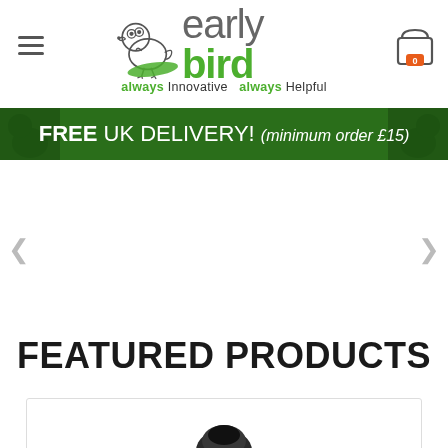early bird — always Innovative always Helpful
FREE UK DELIVERY! (minimum order £15)
FEATURED PRODUCTS
[Figure (photo): Product image partially visible at the bottom of the page, dark colored round object]